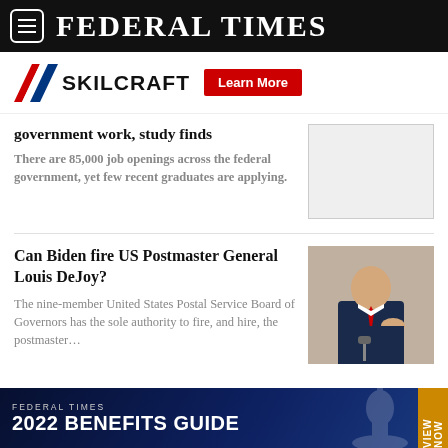FEDERAL TIMES
[Figure (logo): SKILCRAFT logo with red, white, blue chevron and Learn More button]
government work, study finds
There are 85,000 job openings across the federal government, yet few recent graduates are applying.
Can Biden fire US Postmaster General Louis DeJoy?
The nine-member United States Postal Service Board of Governors has the sole authority to fire, and hire, the postmaster…
[Figure (photo): Louis DeJoy, US Postmaster General, in suit with red tie at hearing]
[Figure (infographic): Federal Times 2022 Benefits Guide advertisement banner with VIEW NOW tag]